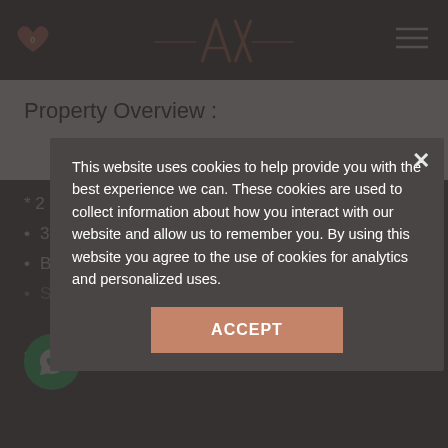AX (logo with navigation header)
Property Overview :
* 2 Bedrooms
3 Washrooms ( 2 Ensuite + Guests )
BUA: 1555 Sq.ft
Close to the bus stop
This website uses cookies to help provide you with the best experience we can. These cookies are used to collect information about how you interact with our website and allow us to remember you. By using this website you agree to the use of cookies for analytics and personalized uses.
ACCEPT